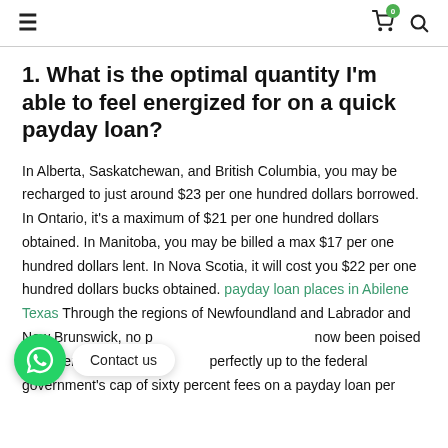≡  🛒 0  🔍
1. What is the optimal quantity I'm able to feel energized for on a quick payday loan?
In Alberta, Saskatchewan, and British Columbia, you may be recharged to just around $23 per one hundred dollars borrowed. In Ontario, it's a maximum of $21 per one hundred dollars obtained. In Manitoba, you may be billed a max $17 per one hundred dollars lent. In Nova Scotia, it will cost you $22 per one hundred dollars bucks obtained. payday loan places in Abilene Texas Through the regions of Newfoundland and Labrador and New Brunswick, no provincial regulations have now been poised by nevertheless, they set the rate perfectly up to the federal government's cap of sixty percent fees on a payday loan per